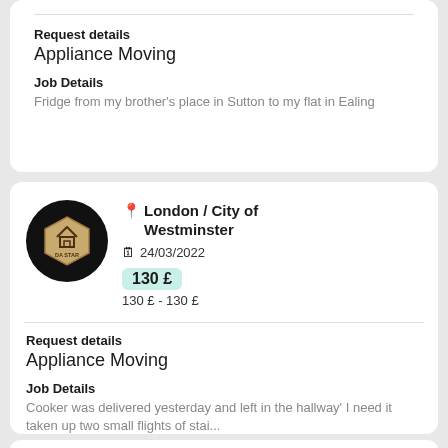Request details
Appliance Moving
Job Details
Fridge from my brother's place in Sutton to my flat in Ealing
[Figure (logo): Round black circle with gold hexagon badge labeled DA STAR]
London / City of Westminster
24/03/2022
130 £
130 £ - 130 £
Request details
Appliance Moving
Job Details
Cooker was delivered yesterday and left in the hallway' I need it taken up two small flights of stai...